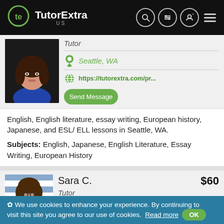[Figure (logo): TutorExtra US logo with green circle TE icon on black header bar]
[Figure (photo): Profile photo of young woman with long dark hair, smiling, wearing blue top]
Tutor
Seattle, WA
https://tutorextra.com/pr...
English, English literature, essay writing, European history, Japanese, and ESL/ ELL lessons in Seattle, WA.
Subjects: English, Japanese, English Literature, Essay Writing, European History
[Figure (photo): Partial profile photo of Sara C., woman with curly dark hair and glasses]
Sara C.
$60
Tutor
✿ We use cookies to enhance your experience. By continuing to visit this site you agree to our use of cookies. Read more OK